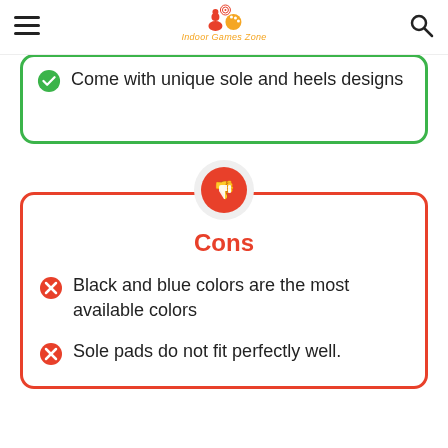Indoor Games Zone
Come with unique sole and heels designs
Cons
Black and blue colors are the most available colors
Sole pads do not fit perfectly well.